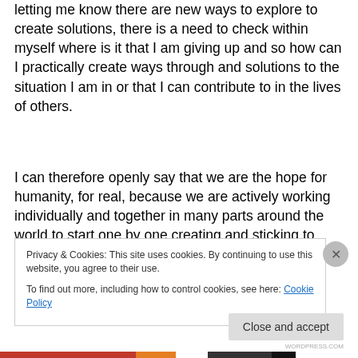letting me know there are new ways to explore to create solutions, there is a need to check within myself where is it that I am giving up and so how can I practically create ways through and solutions to the situation I am in or that I can contribute to in the lives of others.
I can therefore openly say that we are the hope for humanity, for real, because we are actively working individually and together in many parts around the world to start one by one creating and sticking to living this self-change that for many that have come and gone, seemed impossible. I definitely can understand all the reasons of
Privacy & Cookies: This site uses cookies. By continuing to use this website, you agree to their use.
To find out more, including how to control cookies, see here: Cookie Policy
Close and accept